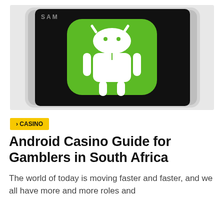[Figure (photo): A Samsung smartphone lying at an angle on a white surface. The phone screen displays a large green Android robot icon (android logo) on a black background. The top of the phone shows the Samsung brand text.]
> CASINO
Android Casino Guide for Gamblers in South Africa
The world of today is moving faster and faster, and we all have more and more roles and